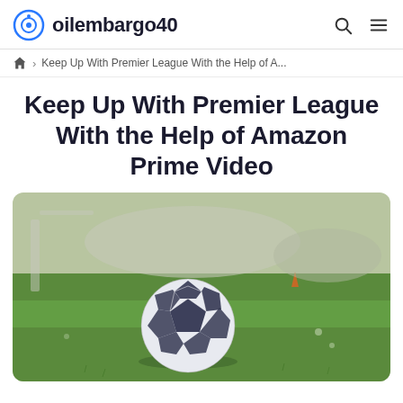oilembargo40
Keep Up With Premier League With the Help of A...
Keep Up With Premier League With the Help of Amazon Prime Video
[Figure (photo): A soccer/football ball resting on green grass on a sports field, with blurred background showing goalposts and an orange cone. The ball is white with dark blue/black pentagon pattern (Champions League style).]